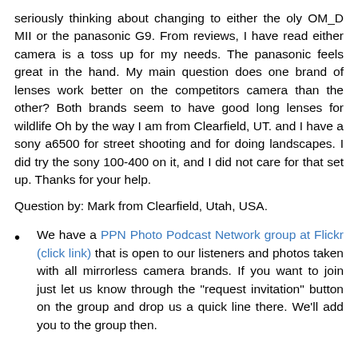seriously thinking about changing to either the oly OM_D MII or the panasonic G9. From reviews, I have read either camera is a toss up for my needs. The panasonic feels great in the hand. My main question does one brand of lenses work better on the competitors camera than the other? Both brands seem to have good long lenses for wildlife Oh by the way I am from Clearfield, UT. and I have a sony a6500 for street shooting and for doing landscapes. I did try the sony 100-400 on it, and I did not care for that set up. Thanks for your help.
Question by: Mark from Clearfield, Utah, USA.
We have a PPN Photo Podcast Network group at Flickr (click link) that is open to our listeners and photos taken with all mirrorless camera brands. If you want to join just let us know through the "request invitation" button on the group and drop us a quick line there. We'll add you to the group then.